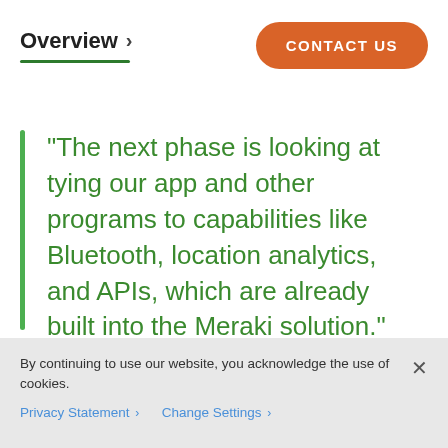Overview >
“The next phase is looking at tying our app and other programs to capabilities like Bluetooth, location analytics, and APIs, which are already built into the Meraki solution.”
By continuing to use our website, you acknowledge the use of cookies.
Privacy Statement > Change Settings >